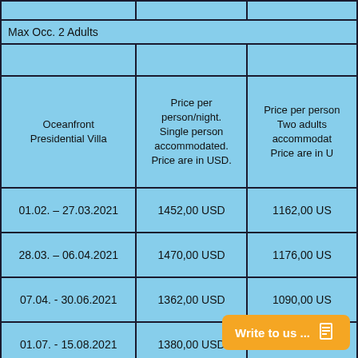|  | Price per person/night. Single person accommodated. Price are in USD. | Price per person. Two adults accommodated. Price are in U |
| --- | --- | --- |
| Max Occ. 2 Adults |  |  |
|  |  |  |
| Oceanfront Presidential Villa | Price per person/night. Single person accommodated. Price are in USD. | Price per person. Two adults accommodated. Price are in U |
| 01.02. – 27.03.2021 | 1452,00 USD | 1162,00 US |
| 28.03. – 06.04.2021 | 1470,00 USD | 1176,00 US |
| 07.04. - 30.06.2021 | 1362,00 USD | 1090,00 US |
| 01.07. - 15.08.2021 | 1380,00 USD | 1104,00 US |
| 16.08. - 31.10.2021 | 1301,00 USD | 1040,00 US |
| 01.11. - 23.12.2021 | 1362,00 USD | 1090,00 US |
| 23.12. - 04.01.2022 | 1737,00 US |  |